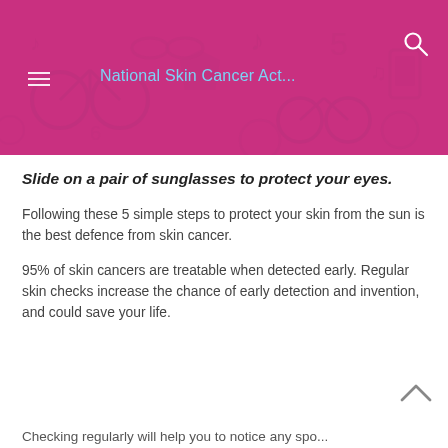[Figure (illustration): Pink/magenta header banner with a repeating pattern of health/activity icons (bicycles, musical notes, phones, etc.) and overlay navigation elements including a hamburger menu icon, site title 'National Skin Cancer Act...' in light blue, and a search icon.]
National Skin Cancer Act...
Slide on a pair of sunglasses to protect your eyes.
Following these 5 simple steps to protect your skin from the sun is the best defence from skin cancer.
95% of skin cancers are treatable when detected early. Regular skin checks increase the chance of early detection and invention, and could save your life.
Checking regularly will help you to notice any spots...